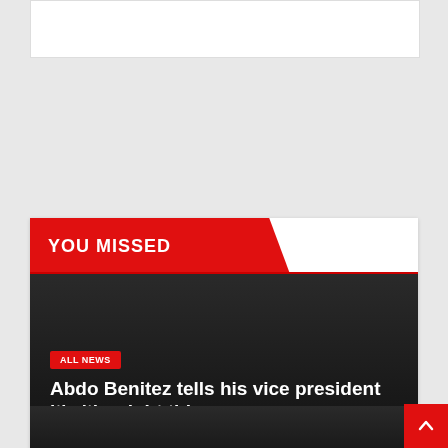[Figure (screenshot): White rectangular bar at top of page, part of a webpage UI]
YOU MISSED
[Figure (photo): Dark gradient article card background]
ALL NEWS
Abdo Benitez tells his vice president it's 'the right thing
AUG 22, 2022   KAVINSKY
[Figure (screenshot): Bottom dark strip partially visible, part of another article card]